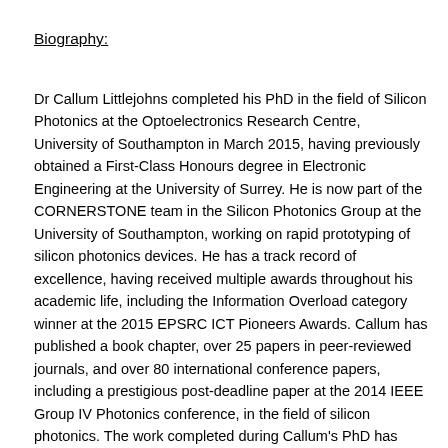Biography:
Dr Callum Littlejohns completed his PhD in the field of Silicon Photonics at the Optoelectronics Research Centre, University of Southampton in March 2015, having previously obtained a First-Class Honours degree in Electronic Engineering at the University of Surrey. He is now part of the CORNERSTONE team in the Silicon Photonics Group at the University of Southampton, working on rapid prototyping of silicon photonics devices. He has a track record of excellence, having received multiple awards throughout his academic life, including the Information Overload category winner at the 2015 EPSRC ICT Pioneers Awards. Callum has published a book chapter, over 25 papers in peer-reviewed journals, and over 80 international conference papers, including a prestigious post-deadline paper at the 2014 IEEE Group IV Photonics conference, in the field of silicon photonics. The work completed during Callum's PhD has been protected by two separate patents, both fully supported by the University of Southampton. He has twice served as the conference chairman at